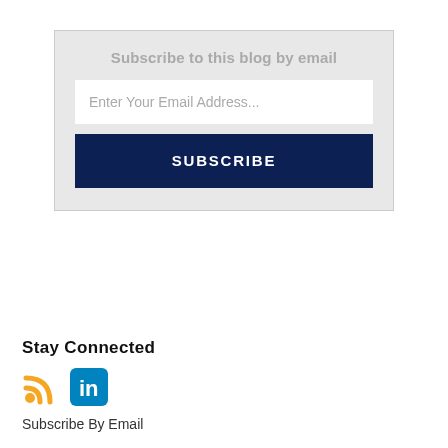Subscribe to this blog by email
Enter Your Email Address...
[Figure (infographic): Subscribe button — dark navy blue rectangle with white bold text 'SUBSCRIBE']
Stay Connected
[Figure (infographic): RSS feed icon (orange) and LinkedIn icon (blue rounded square with 'in' logo)]
Subscribe By Email